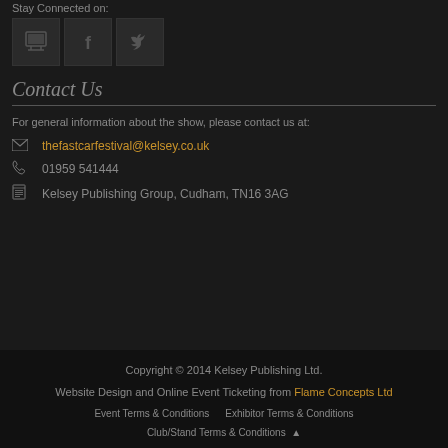Stay Connected on:
[Figure (illustration): Three social media icon boxes: a monitor/screen icon, a Facebook 'f' icon, and a Twitter bird icon]
Contact Us
For general information about the show, please contact us at:
thefastcarfestival@kelsey.co.uk
01959 541444
Kelsey Publishing Group, Cudham, TN16 3AG
Copyright © 2014 Kelsey Publishing Ltd.
Website Design and Online Event Ticketing from Flame Concepts Ltd
Event Terms & Conditions   Exhibitor Terms & Conditions
Club/Stand Terms & Conditions ▲